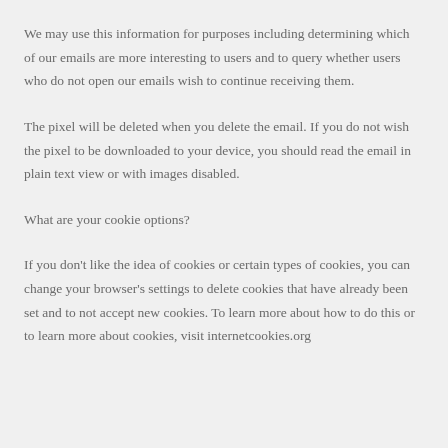We may use this information for purposes including determining which of our emails are more interesting to users and to query whether users who do not open our emails wish to continue receiving them.
The pixel will be deleted when you delete the email. If you do not wish the pixel to be downloaded to your device, you should read the email in plain text view or with images disabled.
What are your cookie options?
If you don't like the idea of cookies or certain types of cookies, you can change your browser's settings to delete cookies that have already been set and to not accept new cookies. To learn more about how to do this or to learn more about cookies, visit internetcookies.org